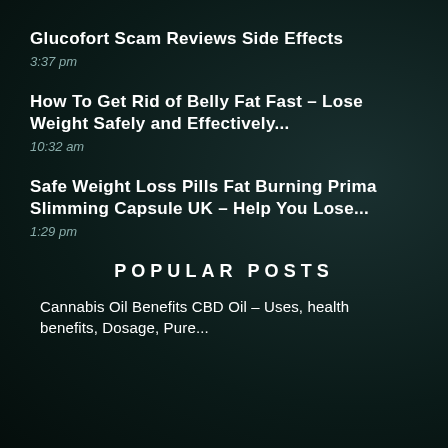Glucofort Scam Reviews Side Effects
3:37 pm
How To Get Rid of Belly Fat Fast – Lose Weight Safely and Effectively...
10:32 am
Safe Weight Loss Pills Fat Burning Prima Slimming Capsule UK – Help You Lose...
1:29 pm
POPULAR POSTS
Cannabis Oil Benefits CBD Oil – Uses, health benefits, Dosage, Pure...